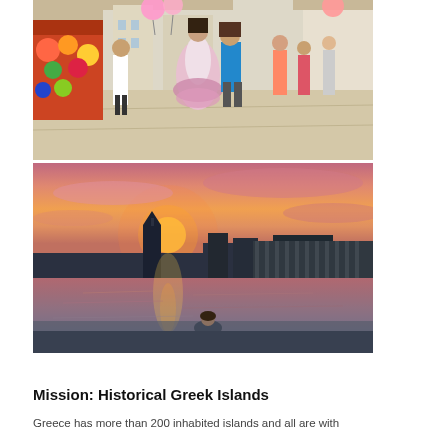[Figure (photo): Outdoor street market scene with people walking, woman in flamenco dress, colorful merchandise stalls on left side]
[Figure (photo): Waterfront sunset scene with pink and orange sky reflecting on water, buildings silhouetted on horizon, lone figure sitting at water's edge]
Mission: Historical Greek Islands
Greece has more than 200 inhabited islands and all are with